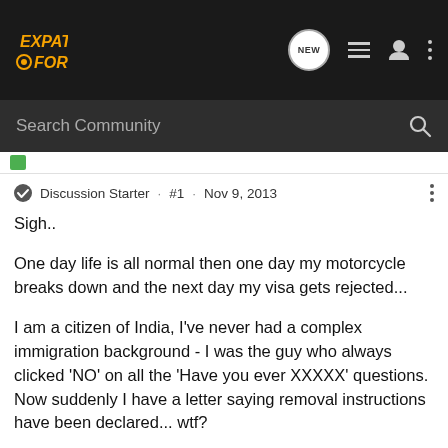[Figure (logo): Expat Forum logo in gold/orange italic text on dark background with gear icon]
Search Community
Discussion Starter · #1 · Nov 9, 2013
Sigh..
One day life is all normal then one day my motorcycle breaks down and the next day my visa gets rejected...
I am a citizen of India, I've never had a complex immigration background - I was the guy who always clicked 'NO' on all the 'Have you ever XXXXX' questions. Now suddenly I have a letter saying removal instructions have been declared... wtf?
Anyway. I digress
My Tier 1 PSW visa was expiring 30th Aug 2013. A week before